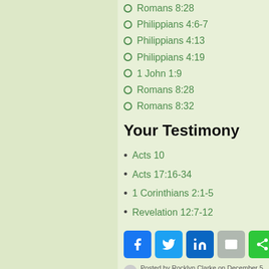Romans 8:28
Philippians 4:6-7
Philippians 4:13
Philippians 4:19
1 John 1:9
Romans 8:28
Romans 8:32
Your Testimony
Acts 10
Acts 17:16-34
1 Corinthians 2:1-5
Revelation 12:7-12
Posted by Rocklyn Clarke on December 5, 2021 at 4:32 am